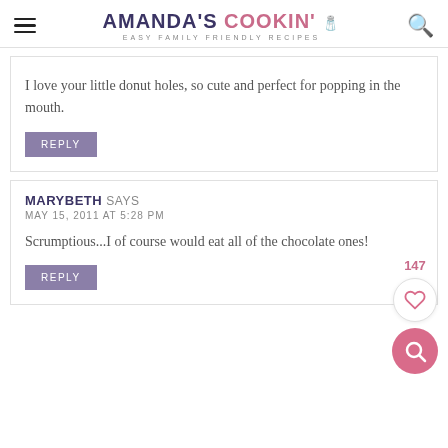AMANDA'S COOKIN' — EASY FAMILY FRIENDLY RECIPES
I love your little donut holes, so cute and perfect for popping in the mouth.
REPLY
MARYBETH SAYS
MAY 15, 2011 AT 5:28 PM
Scrumptious...I of course would eat all of the chocolate ones!
REPLY